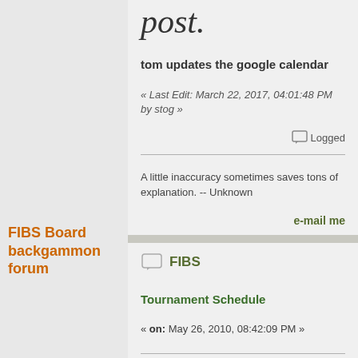post.
tom updates the google calendar
« Last Edit: March 22, 2017, 04:01:48 PM by stog »
Logged
A little inaccuracy sometimes saves tons of explanation. -- Unknown
e-mail me
FIBS Board backgammon forum
FIBS
Tournament Schedule
« on: May 26, 2010, 08:42:09 PM »